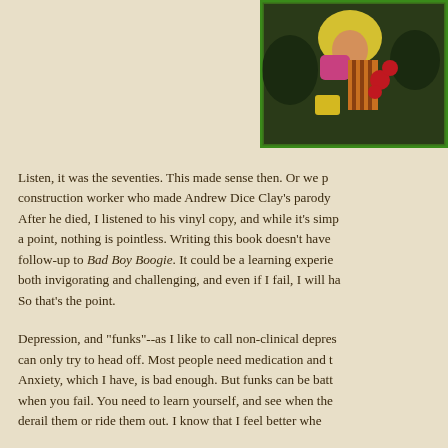[Figure (illustration): A colorful textile or artwork featuring a blonde figure with vivid colors including greens, yellows, reds and browns, framed with a green border, partially cropped at right edge]
Listen, it was the seventies. This made sense then. Or we p... construction worker who made Andrew Dice Clay's parody... After he died, I listened to his vinyl copy, and while it's simp... a point, nothing is pointless. Writing this book doesn't have... follow-up to Bad Boy Boogie. It could be a learning experie... both invigorating and challenging, and even if I fail, I will ha... So that's the point.
Depression, and "funks"--as I like to call non-clinical depres... can only try to head off. Most people need medication and t... Anxiety, which I have, is bad enough. But funks can be batt... when you fail. You need to learn yourself, and see when the... derail them or ride them out. I know that I feel better whe...